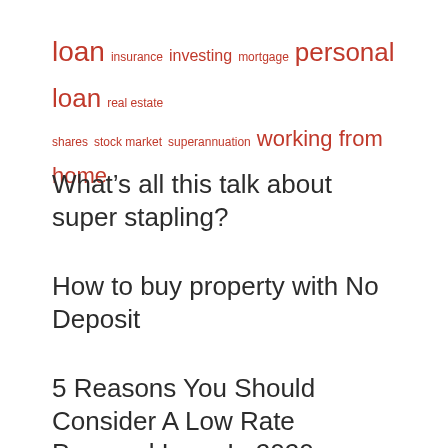loan insurance investing mortgage personal loan real estate shares stock market superannuation working from home
What’s all this talk about super stapling?
How to buy property with No Deposit
5 Reasons You Should Consider A Low Rate Personal Loan In 2020